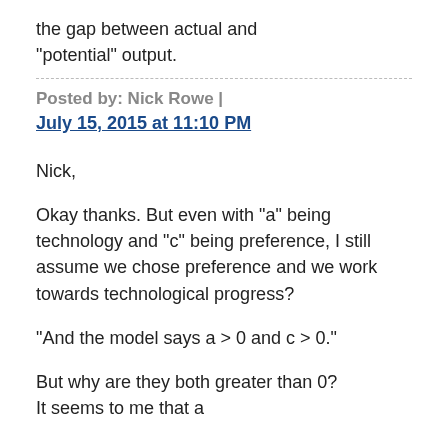the gap between actual and "potential" output.
Posted by: Nick Rowe | July 15, 2015 at 11:10 PM
Nick,
Okay thanks. But even with "a" being technology and "c" being preference, I still assume we chose preference and we work towards technological progress?
"And the model says a > 0 and c > 0."
But why are they both greater than 0?
It seems to me that a